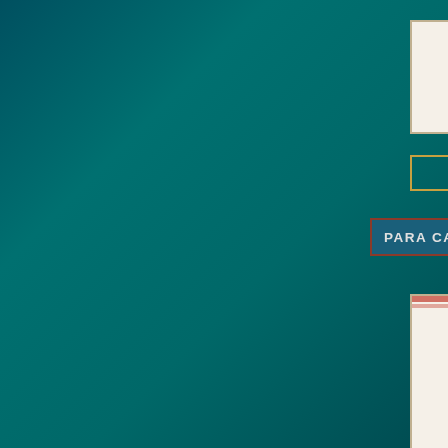[Figure (infographic): Dark teal gradient background with partially visible UI elements on the right edge: a card/document at top right, a gold-bordered button below it, a text bar with dark blue fill and red/brown border reading 'PARA CASI TOD' (text cut off), a large card/document in the middle-right, and another gold-bordered button below that.]
PARA CASI TOD